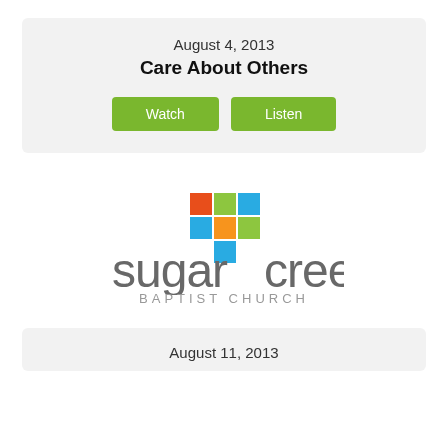August 4, 2013
Care About Others
[Figure (logo): Sugar Creek Baptist Church logo with colorful cross made of square tiles above the wordmark 'sugar creek' in gray and 'BAPTIST CHURCH' in smaller gray caps]
August 11, 2013